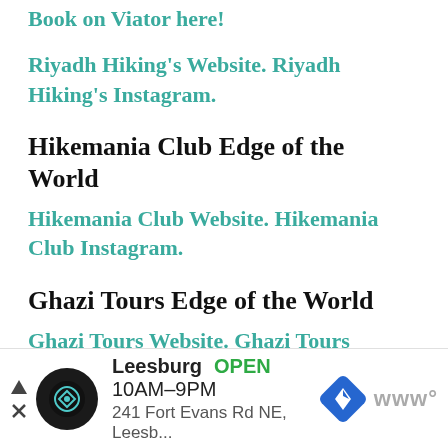Book on Viator here!
Riyadh Hiking's Website. Riyadh Hiking's Instagram.
Hikemania Club Edge of the World
Hikemania Club Website. Hikemania Club Instagram.
Ghazi Tours Edge of the World
Ghazi Tours Website. Ghazi Tours Instagram.
Haya Tours Edge of the World
H...m...
[Figure (other): Advertisement bar: Leesburg OPEN 10AM-9PM, 241 Fort Evans Rd NE, Leesb... with logo circle and navigation icon]